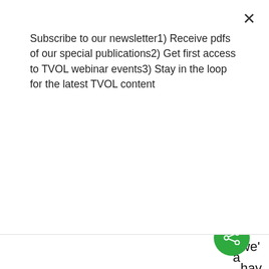Subscribe to our newsletter1) Receive pdfs of our special publications2) Get first access to TVOL webinar events3) Stay in the loop for the latest TVOL content
[Figure (other): Green SUBSCRIBE button]
we' hav to wor it out a
[Figure (other): Green circular share button with share icon]